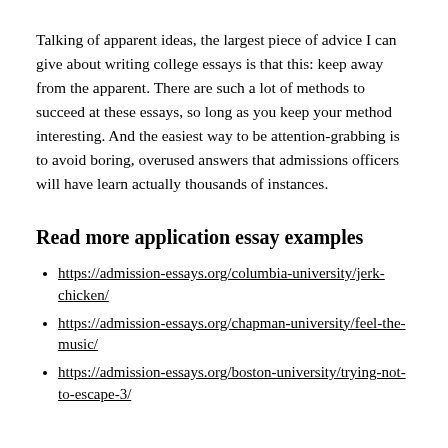Talking of apparent ideas, the largest piece of advice I can give about writing college essays is that this: keep away from the apparent. There are such a lot of methods to succeed at these essays, so long as you keep your method interesting. And the easiest way to be attention-grabbing is to avoid boring, overused answers that admissions officers will have learn actually thousands of instances.
Read more application essay examples
https://admission-essays.org/columbia-university/jerk-chicken/
https://admission-essays.org/chapman-university/feel-the-music/
https://admission-essays.org/boston-university/trying-not-to-escape-3/